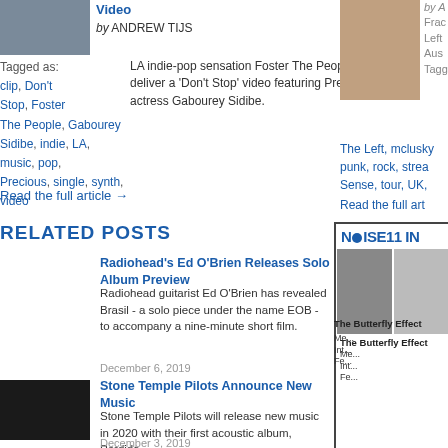[Figure (photo): Thumbnail photo of Foster The People]
Video by ANDREW TIJS
LA indie-pop sensation Foster The People deliver a 'Don't Stop' video featuring Precious actress Gabourey Sidibe.
Tagged as: clip, Don't Stop, Foster The People, Gabourey Sidibe, indie, LA, music, pop, Precious, single, synth, video
Read the full article →
[Figure (photo): Partial thumbnail of another artist]
by A... Fract... Left ... Aus... Tagg...
The Left, mclusky... punk, rock, strea... Sense, tour, UK,...
Read the full art...
RELATED POSTS
Radiohead's Ed O'Brien Releases Solo Album Preview
Radiohead guitarist Ed O'Brien has revealed Brasil - a solo piece under the name EOB - to accompany a nine-minute short film.
December 6, 2019
[Figure (photo): Stone Temple Pilots band photo thumbnail]
Stone Temple Pilots Announce New Music
Stone Temple Pilots will release new music in 2020 with their first acoustic album, Perdida.
December 3, 2019
[Figure (screenshot): Noise11 In... panel with logo and photos]
The Butterfly Effect
Me... Int... Fe...